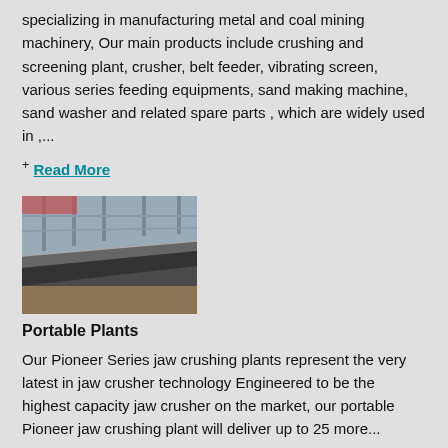specializing in manufacturing metal and coal mining machinery, Our main products include crushing and screening plant, crusher, belt feeder, vibrating screen, various series feeding equipments, sand making machine, sand washer and related spare parts , which are widely used in ,...
+ Read More
[Figure (photo): Industrial facility interior showing metal machinery or conveyor equipment in a large manufacturing hall]
Portable Plants
Our Pioneer Series jaw crushing plants represent the very latest in jaw crusher technology Engineered to be the highest capacity jaw crusher on the market, our portable Pioneer jaw crushing plant will deliver up to 25 more...
+ Read More